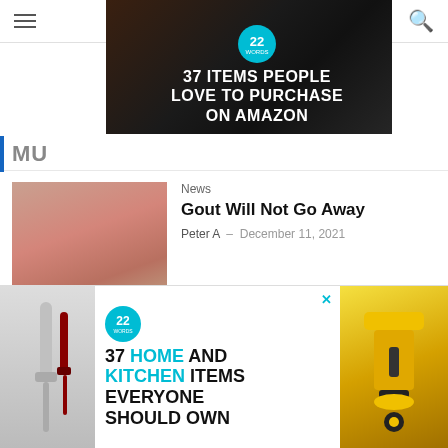[Figure (screenshot): Navigation bar with hamburger menu on left and search icon on right]
[Figure (screenshot): Advertisement banner: 37 Items People Love to Purchase on Amazon, with 22 Words badge and kitchen/food imagery, X close button]
MU...
[Figure (photo): Close-up photo of a gout-affected big toe with redness and inflammation, captioned 'Gout big toe']
News
Gout Will Not Go Away
Peter A  –  December 11, 2021
[Figure (photo): Photo of variety of fruits, vegetables and foods on dark background with text overlay about low-purine diet]
Must Read
How Do You Get Gout In Your Feet
Peter A  –  December 25, 2021
Knee
[Figure (screenshot): Partial view of a third article card with light blue background showing partial text about Gout symptoms]
[Figure (screenshot): Bottom overlay advertisement: 37 Home and Kitchen Items Everyone Should Own, with 22 Words badge, kitchen tools photos, and X close button. CLOSE button overlay at top right.]